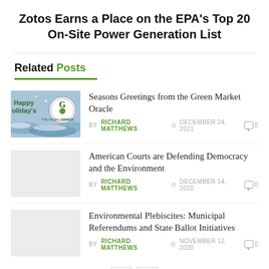Zotos Earns a Place on the EPA's Top 20 On-Site Power Generation List
Related Posts
Seasons Greetings from the Green Market Oracle
BY RICHARD MATTHEWS  DECEMBER 24, 2021  0
American Courts are Defending Democracy and the Environment
BY RICHARD MATTHEWS  DECEMBER 14, 2020  0
Environmental Plebiscites: Municipal Referendums and State Ballot Initiatives
BY RICHARD MATTHEWS  NOVEMBER 12, 2020  0